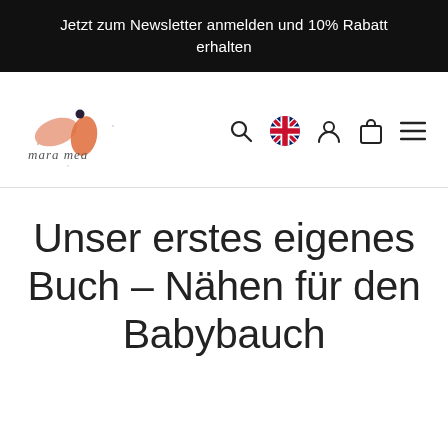Jetzt zum Newsletter anmelden und 10% Rabatt erhalten
[Figure (logo): mara mea brand logo with illustrated leaf/petal shapes in salmon pink and orange, and a small dark dot accent, with cursive brand name text]
Unser erstes eigenes Buch – Nähen für den Babybauch